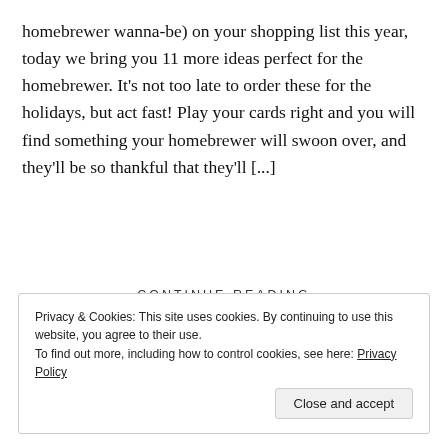homebrewer wanna-be) on your shopping list this year, today we bring you 11 more ideas perfect for the homebrewer. It's not too late to order these for the holidays, but act fast! Play your cards right and you will find something your homebrewer will swoon over, and they'll be so thankful that they'll [...]
CONTINUE READING
Privacy & Cookies: This site uses cookies. By continuing to use this website, you agree to their use.
To find out more, including how to control cookies, see here: Privacy Policy
Close and accept